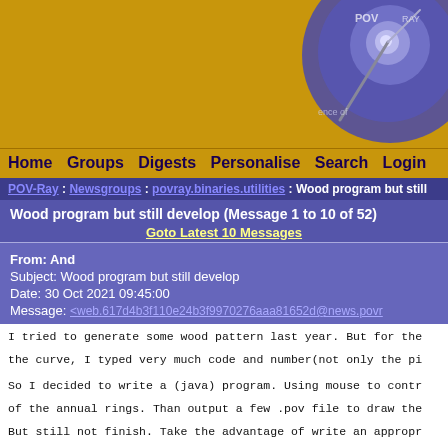[Figure (logo): POV-Ray persistence of vision logo in blue/purple tones on gold background, upper right corner]
Home  Groups  Digests  Personalise  Search  Login
POV-Ray : Newsgroups : povray.binaries.utilities : Wood program but still
Wood program but still develop (Message 1 to 10 of 52)
Goto Latest 10 Messages
From: And
Subject: Wood program but still develop
Date: 30 Oct 2021 09:45:00
Message: <web.617d4b3f110e24b3f9970276aaa81652d@news.povr
I tried to generate some wood pattern last year. But for the
the curve, I typed very much code and number(not only the pi

So I decided to write a (java) program. Using mouse to contr
of the annual rings. Than output a few .pov file to draw the
But still not finish. Take the advantage of write an appropr
can practice my coding skill, too.

Because it is prototype, I will release it and take this to
Maybe will be early next year.
Post a reply to this message
Attachments: